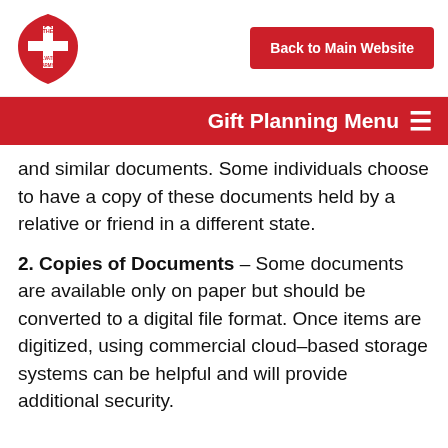[Figure (logo): The Salvation Army red shield logo]
Back to Main Website
Gift Planning Menu ☰
and similar documents. Some individuals choose to have a copy of these documents held by a relative or friend in a different state.
2. Copies of Documents – Some documents are available only on paper but should be converted to a digital file format. Once items are digitized, using commercial cloud–based storage systems can be helpful and will provide additional security.